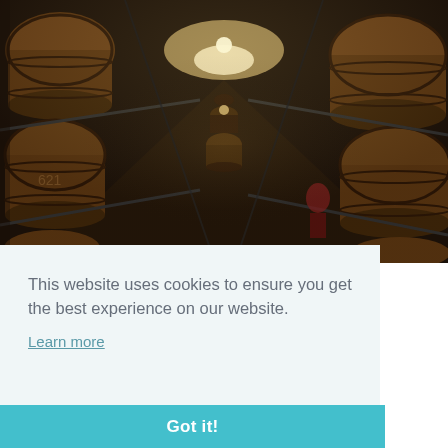[Figure (photo): Interior of a wine/whisky barrel warehouse showing rows of oak barrels stacked on metal racks extending into the distance, with warm overhead lighting. A person is visible in the background between the rows.]
This website uses cookies to ensure you get the best experience on our website.
Learn more
Got it!